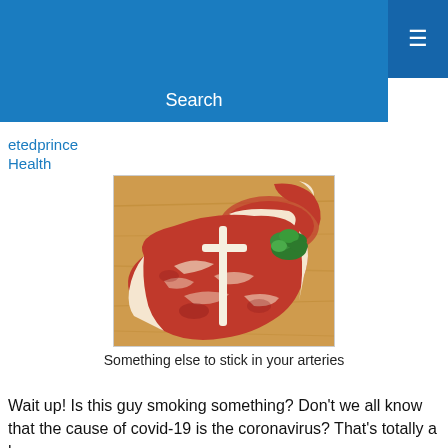Search
etedprince
Health
[Figure (photo): A raw T-bone steak on a wooden cutting board with a sprig of fresh parsley, showing marbled red meat with white fat.]
Something else to stick in your arteries
Wait up! Is this guy smoking something? Don't we all know that the cause of covid-19 is the coronavirus? That's totally a known